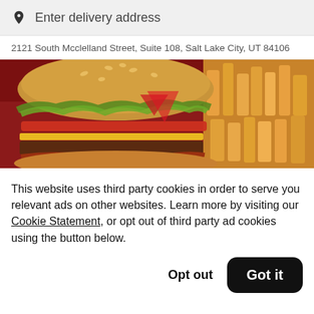Enter delivery address
2121 South Mcclelland Street, Suite 108, Salt Lake City, UT 84106
[Figure (photo): Close-up photo of a large hamburger with lettuce, tomato, cheese, and bacon, wrapped in red paper, with french fries on the right side, on a red background]
This website uses third party cookies in order to serve you relevant ads on other websites. Learn more by visiting our Cookie Statement, or opt out of third party ad cookies using the button below.
Opt out
Got it